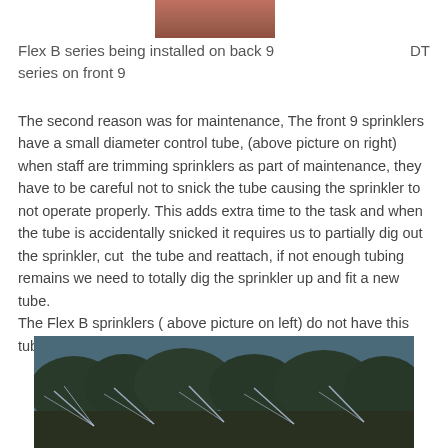[Figure (photo): Top portion of a photo showing sprinkler installation]
Flex B series being installed on back 9
series on front 9
DT
The second reason was for maintenance, The front 9 sprinklers have a small diameter control tube, (above picture on right) when staff are trimming sprinklers as part of maintenance, they have to be careful not to snick the tube causing the sprinkler to not operate properly. This adds extra time to the task and when the tube is accidentally snicked it requires us to partially dig out the sprinkler, cut  the tube and reattach, if not enough tubing remains we need to totally dig the sprinkler up and fit a new tube.
The Flex B sprinklers ( above picture on left) do not have this tube avoiding the above issues.
[Figure (photo): Photo of sprinklers operating on a golf course with trees in the background]